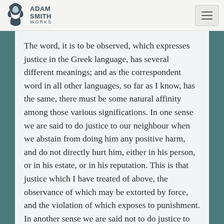ADAM SMITH WORKS
The word, it is to be observed, which expresses justice in the Greek language, has several different meanings; and as the correspondent word in all other languages, so far as I know, has the same, there must be some natural affinity among those various significations. In one sense we are said to do justice to our neighbour when we abstain from doing him any positive harm, and do not directly hurt him, either in his person, or in his estate, or in his reputation. This is that justice which I have treated of above, the observance of which may be extorted by force, and the violation of which exposes to punishment. In another sense we are said not to do justice to our neighbour unless we conceive for him all that love, respect, and esteem, which his character, his situation, and his connexion with ourselves,